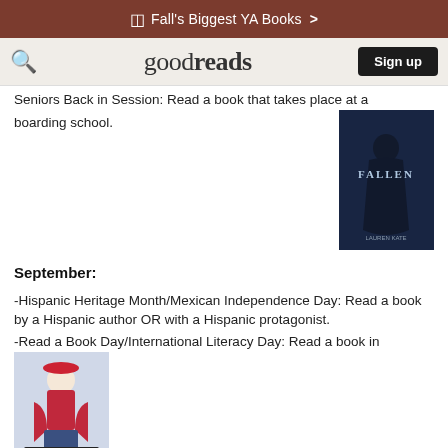Fall's Biggest YA Books  >
goodreads   Sign up
Seniors Back in Session: Read a book that takes place at a boarding school.
[Figure (photo): Book cover for 'Fallen' by Lauren Kate — a dark atmospheric cover with a figure in a dark dress]
September:
-Hispanic Heritage Month/Mexican Independence Day: Read a book by a Hispanic author OR with a Hispanic protagonist.
-Read a Book Day/International Literacy Day: Read a book in ONE day.
[Figure (photo): Book cover for 'Yona Koma Koma Bear' — illustrated manga-style cover with a character in winter clothing]
-National Ampersand Day: Read a book with a '&' in the title.
-Native American Day: Read a book by a Native American Author, with a Native American protagonist, OR with Native
[Figure (photo): Book cover for 'American Gods' — red and dark cover with title text]